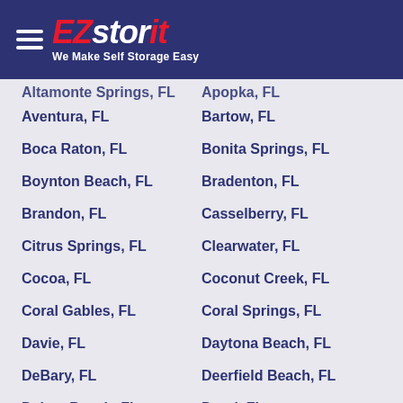[Figure (logo): EZstorit logo with tagline 'We Make Self Storage Easy' on dark blue header with hamburger menu icon]
Altamonte Springs, FL
Apopka, FL
Aventura, FL
Bartow, FL
Boca Raton, FL
Bonita Springs, FL
Boynton Beach, FL
Bradenton, FL
Brandon, FL
Casselberry, FL
Citrus Springs, FL
Clearwater, FL
Cocoa, FL
Coconut Creek, FL
Coral Gables, FL
Coral Springs, FL
Davie, FL
Daytona Beach, FL
DeBary, FL
Deerfield Beach, FL
Delray Beach, FL
Doral, FL
Dundee, FL
Fern Park, FL
Fort Lauderdale, FL
Fort Myers, FL
Fort Pierce, FL
Ft Lauderdale, FL